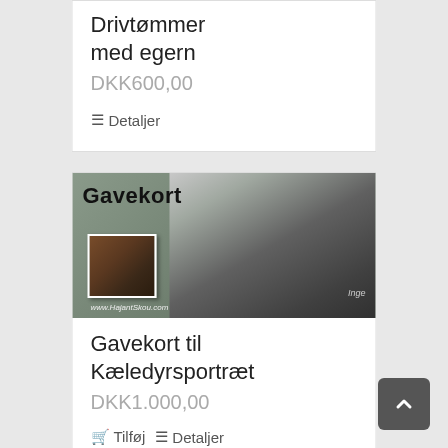Drivtømmer med egern
DKK600,00
≡ Detaljer
[Figure (photo): Gavekort image showing a dog portrait with a smaller photo inset and the text 'Gavekort' at top, URL www.HajantSkou.com at bottom]
Gavekort til Kæledyrsportræt
DKK1.000,00
🛒 Tilføj til kurv  ≡ Detaljer